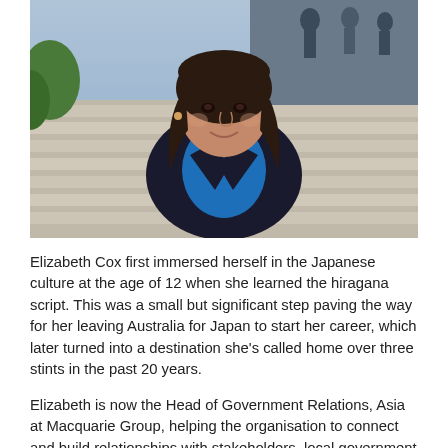[Figure (photo): Portrait photo of Elizabeth Cox, a woman with long dark hair, smiling, wearing a blue top and dark blazer, standing outdoors on steps.]
Elizabeth Cox first immersed herself in the Japanese culture at the age of 12 when she learned the hiragana script. This was a small but significant step paving the way for her leaving Australia for Japan to start her career, which later turned into a destination she's called home over three stints in the past 20 years.
Elizabeth is now the Head of Government Relations, Asia at Macquarie Group, helping the organisation to connect and build relationships with stakeholders, local government and wider community.